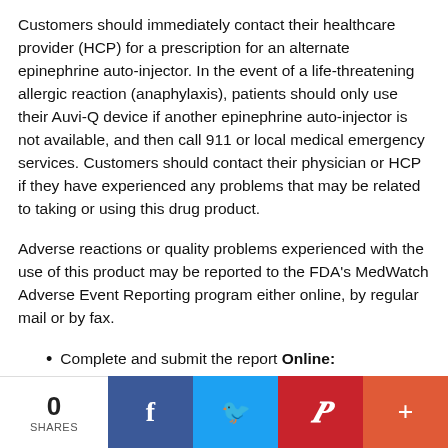Customers should immediately contact their healthcare provider (HCP) for a prescription for an alternate epinephrine auto-injector. In the event of a life-threatening allergic reaction (anaphylaxis), patients should only use their Auvi-Q device if another epinephrine auto-injector is not available, and then call 911 or local medical emergency services. Customers should contact their physician or HCP if they have experienced any problems that may be related to taking or using this drug product.
Adverse reactions or quality problems experienced with the use of this product may be reported to the FDA's MedWatch Adverse Event Reporting program either online, by regular mail or by fax.
Complete and submit the report Online: www.fda.gov/medwatch/report.htm